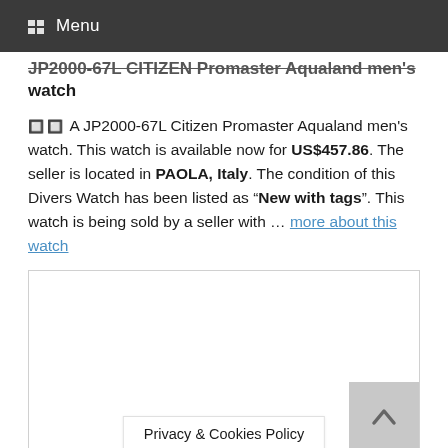Menu
JP2000-67L CITIZEN Promaster Aqualand men's watch
🔲🔲 A JP2000-67L Citizen Promaster Aqualand men's watch. This watch is available now for US$457.86. The seller is located in PAOLA, Italy. The condition of this Divers Watch has been listed as "New with tags". This watch is being sold by a seller with … more about this watch
[Figure (photo): White content box / watch listing image area, with a back-to-top arrow button in the bottom right corner, and a Privacy & Cookies Policy bar at the bottom.]